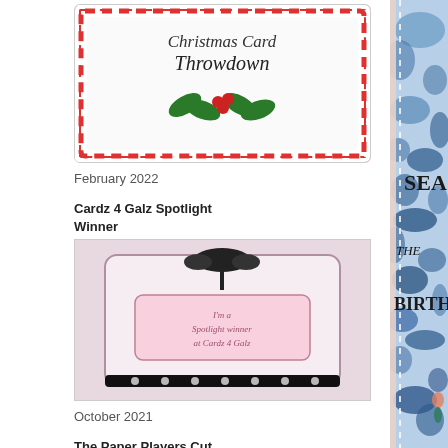[Figure (photo): Christmas Card Throwdown badge/logo with holly and candy cane border]
February 2022
Cardz 4 Galz Spotlight Winner
[Figure (photo): Cardz 4 Galz Spotlight Winner badge]
October 2021
The Paper Players Cut Above
[Figure (photo): The Paper Players Cut Above badge with scissors]
[Figure (photo): Partial view of a handmade birthday card with blue watercolor/splatter background and stamped text reading SEA THE BIRTHD...]